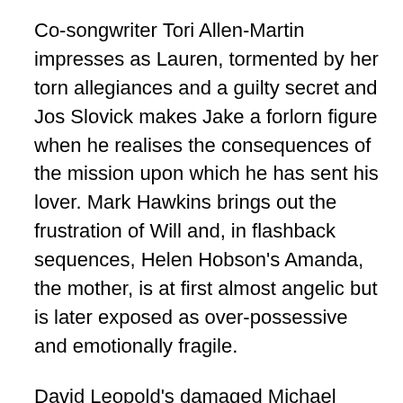Co-songwriter Tori Allen-Martin impresses as Lauren, tormented by her torn allegiances and a guilty secret and Jos Slovick makes Jake a forlorn figure when he realises the consequences of the mission upon which he has sent his lover. Mark Hawkins brings out the frustration of Will and, in flashback sequences, Helen Hobson's Amanda, the mother, is at first almost angelic but is later exposed as over-possessive and emotionally fragile.
David Leopold's damaged Michael contrasts beautifully with Edd Campbell Bird's portrayal of his younger self, brimming over with teenage optimism and ambition. The centrepiece of Sarah Beaton's memorable set design, which reflects psychological undertones in the story, is an island surrounded by a moat in which both Michaels paddle tentatively. A garden swing hangs from above, as